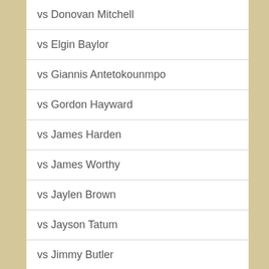vs Donovan Mitchell
vs Elgin Baylor
vs Giannis Antetokounmpo
vs Gordon Hayward
vs James Harden
vs James Worthy
vs Jaylen Brown
vs Jayson Tatum
vs Jimmy Butler
vs Joel Embiid
vs John Havlicek